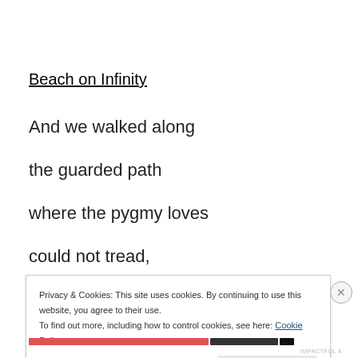Beach on Infinity
And we walked along
the guarded path
where the pygmy loves
could not tread,
Privacy & Cookies: This site uses cookies. By continuing to use this website, you agree to their use. To find out more, including how to control cookies, see here: Cookie Policy
Close and accept
IMPACTFUL A